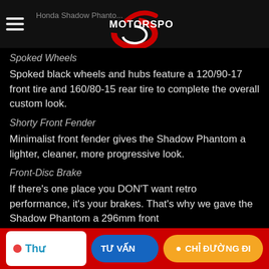Honda Shadow Phantom — MOTORSPORT
Spoked Wheels
Spoked black wheels and hubs feature a 120/90-17 front tire and 160/80-15 rear tire to complete the overall custom look.
Shorty Front Fender
Minimalist front fender gives the Shadow Phantom a lighter, cleaner, more progressive look.
Front-Disc Brake
If there's one place you DON'T want retro performance, it's your brakes. That's why we gave the Shadow Phantom a 296mm front
Thư | TƯ VẤN | CHỈ ĐƯỜNG ĐI